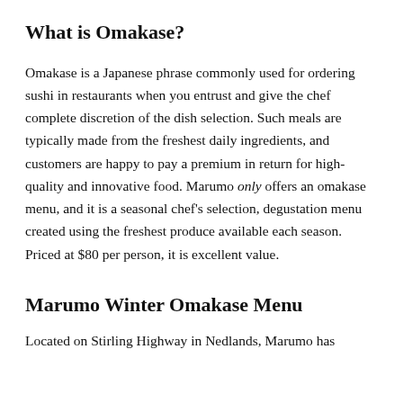What is Omakase?
Omakase is a Japanese phrase commonly used for ordering sushi in restaurants when you entrust and give the chef complete discretion of the dish selection. Such meals are typically made from the freshest daily ingredients, and customers are happy to pay a premium in return for high-quality and innovative food. Marumo only offers an omakase menu, and it is a seasonal chef’s selection, degustation menu created using the freshest produce available each season. Priced at $80 per person, it is excellent value.
Marumo Winter Omakase Menu
Located on Stirling Highway in Nedlands, Marumo has